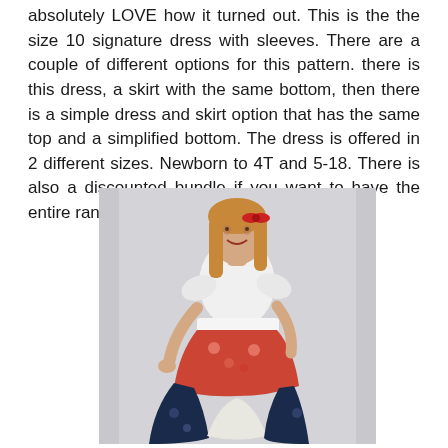absolutely LOVE how it turned out. This is the the size 10 signature dress with sleeves. There are a couple of different options for this pattern. there is this dress, a skirt with the same bottom, then there is a simple dress and skirt option that has the same top and a simplified bottom. The dress is offered in 2 different sizes. Newborn to 4T and 5-18. There is also a discounted bundle if you want to have the entire range of sizes.
[Figure (photo): A young girl with long blonde hair wearing a white top and a colorful patchwork skirt/dress with red floral and dark blue floral fabric panels, posing with one hand on hip against a light grey background, with a red bow in her hair.]